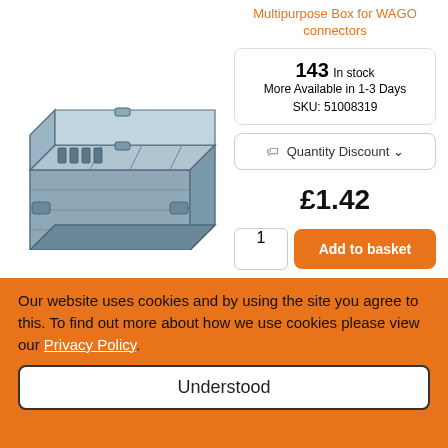[Figure (photo): Grey plastic multipurpose box/container with open lid, used for WAGO connectors, shown in isometric 3D view]
Multipurpose Box for WAGO connectors
143 In stock
More Available in 1-3 Days
SKU: 51008319
Quantity Discount
£1.42
1  Add to basket
Add to quote
Our website uses cookies and by using the site you agree to this. To find out more about how we use cookies please view our Privacy Policy.
Understood